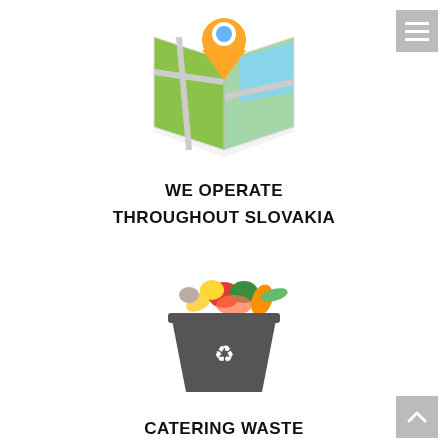[Figure (illustration): A folded map icon with a green background, roads, and an orange location pin marker on top, with a light blue water area]
WE OPERATE
THROUGHOUT SLOVAKIA
[Figure (illustration): A dark grey recycling bin overflowing with colorful food waste including vegetables and fruits, with a white recycling symbol on the front]
CATERING WASTE
AND EXPIRED FOODS